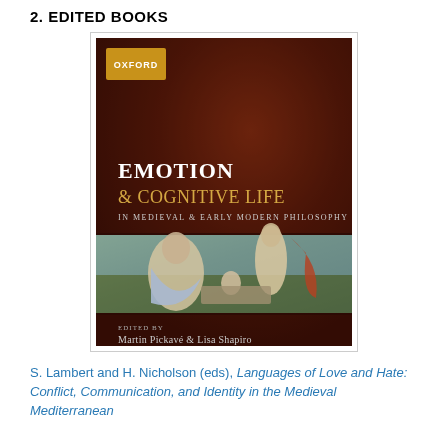2. EDITED BOOKS
[Figure (photo): Book cover of 'Emotion & Cognitive Life in Medieval & Early Modern Philosophy', edited by Martin Pickavé & Lisa Shapiro, published by Oxford University Press. The cover features a dark reddish-brown background with the book title in white and gold text, an Oxford logo badge in the upper left, and a classical painting depicting figures in a landscape in the lower half.]
S. Lambert and H. Nicholson (eds), Languages of Love and Hate: Conflict, Communication, and Identity in the Medieval Mediterranean